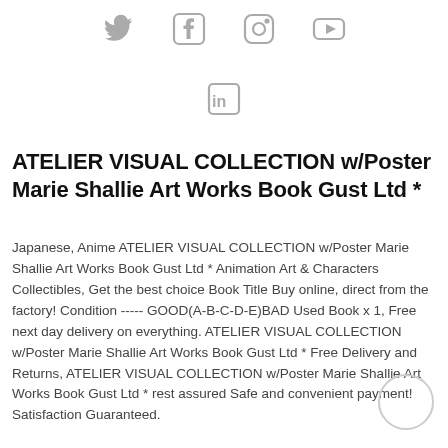[Figure (other): Social media icons row: Twitter, Facebook, Instagram, YouTube]
[Figure (other): LinkedIn icon]
ATELIER VISUAL COLLECTION w/Poster Marie Shallie Art Works Book Gust Ltd *
Japanese, Anime ATELIER VISUAL COLLECTION w/Poster Marie Shallie Art Works Book Gust Ltd * Animation Art & Characters Collectibles, Get the best choice Book Title Buy online, direct from the factory! Condition ----- GOOD(A-B-C-D-E)BAD Used Book x 1, Free next day delivery on everything. ATELIER VISUAL COLLECTION w/Poster Marie Shallie Art Works Book Gust Ltd * Free Delivery and Returns, ATELIER VISUAL COLLECTION w/Poster Marie Shallie Art Works Book Gust Ltd * rest assured Safe and convenient payment! Satisfaction Guaranteed.